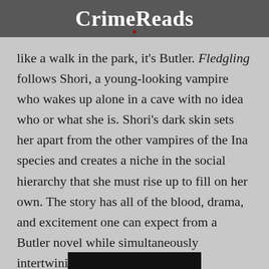CrimeReads
like a walk in the park, it's Butler. Fledgling follows Shori, a young-looking vampire who wakes up alone in a cave with no idea who or what she is. Shori's dark skin sets her apart from the other vampires of the Ina species and creates a niche in the social hierarchy that she must rise up to fill on her own. The story has all of the blood, drama, and excitement one can expect from a Butler novel while simultaneously intertwining issues of race, power, enslavement, and Afrofuturism that have set apart her work from her contemporaries for decades.
[Figure (photo): Bottom portion of a black image/photo partially visible at the bottom of the page]